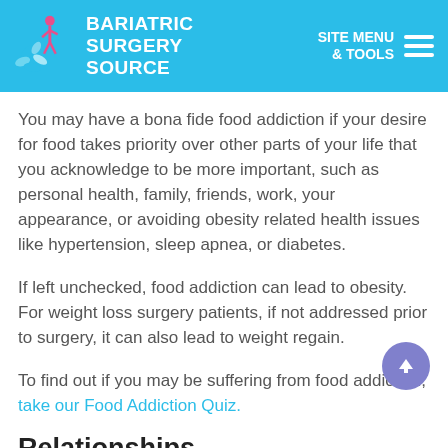BARIATRIC SURGERY SOURCE | SITE MENU & TOOLS
You may have a bona fide food addiction if your desire for food takes priority over other parts of your life that you acknowledge to be more important, such as personal health, family, friends, work, your appearance, or avoiding obesity related health issues like hypertension, sleep apnea, or diabetes.
If left unchecked, food addiction can lead to obesity. For weight loss surgery patients, if not addressed prior to surgery, it can also lead to weight regain.
To find out if you may be suffering from food addiction, take our Food Addiction Quiz.
Relationships